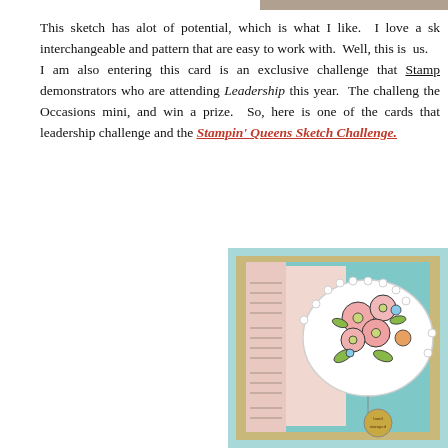This sketch has alot of potential, which is what I like.  I love a sk interchangeable and pattern that are easy to work with.  Well, this is  us.
I am also entering this card is an exclusive challenge that Stamp demonstrators who are attending Leadership this year.  The challen the Occasions mini, and win a prize.  So, here is one of the cards that leadership challenge and the Stampin' Queens Sketch Challenge.
[Figure (photo): A handmade greeting card on a teal/blue background with tan mat, featuring a decorative scalloped oval label with hand-colored pink floral stamp art showing blooms and green leaves. On the left side is a strip of patterned paper with text. The card has a small circular gold tag hanging from a brad or clip with text reading 'hand stamped'.]